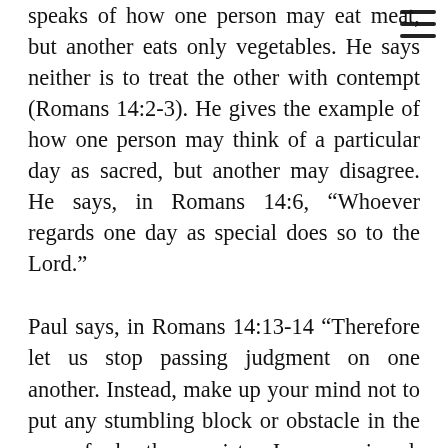speaks of how one person may eat meat, but another eats only vegetables. He says neither is to treat the other with contempt (Romans 14:2-3). He gives the example of how one person may think of a particular day as sacred, but another may disagree. He says, in Romans 14:6, “Whoever regards one day as special does so to the Lord.”
Paul says, in Romans 14:13-14 “Therefore let us stop passing judgment on one another. Instead, make up your mind not to put any stumbling block or obstacle in the way of a brother or sister. I am convinced, being fully persuaded in the Lord Jesus, that nothing is unclean in itself. But if anyone regards